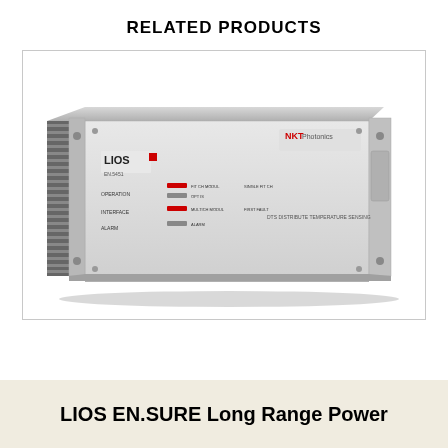RELATED PRODUCTS
[Figure (photo): LIOS EN.SURE distributed temperature sensing system — a rack-mounted instrument unit with LIOS logo and NKT Photonics branding on the front panel, showing various connectors and indicator lights.]
LIOS EN.SURE Long Range Power